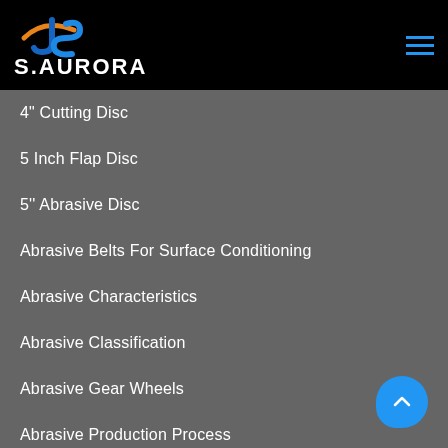[Figure (logo): S.AURORA company logo with stylized JS letters in blue and orange on black background, with hamburger menu icon in blue on the right]
4" Cutting Disc
5 Inch Flap Disc
5'' Abrasive Disc
Abrasive Belts For Surface Conditioning
Abrasive Characteristics
Abrasive Classification
Abrasive Gear Wheels
Abrasive Production Process
Abrasive Strip Discs